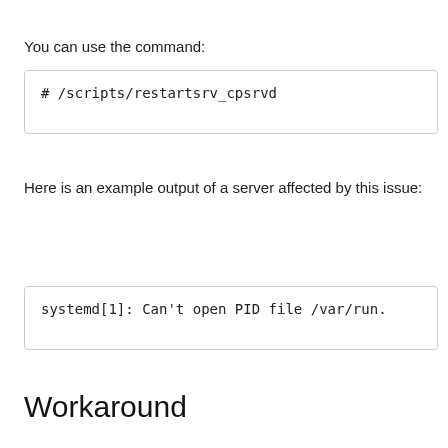You can use the command:
# /scripts/restartsrv_cpsrvd
Here is an example output of a server affected by this issue:
systemd[1]: Can't open PID file /var/run.
Workaround